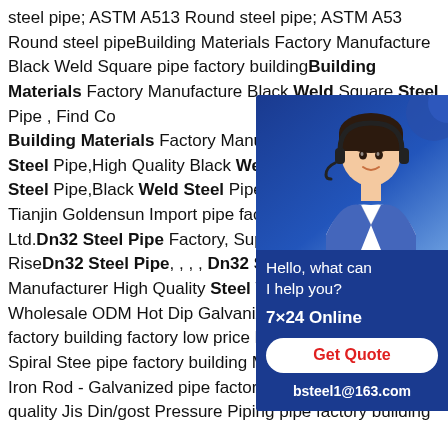steel pipe; ASTM A513 Round steel pipe; ASTM A53 Round steel pipeBuilding Materials Factory Manufacture Black Weld Square pipe factory buildingBuilding Materials Factory Manufacture Black Weld Square Steel Pipe , Find Complete Building Materials Factory Manufacture Black Welded Steel Pipe,High Quality Black Welded Steel Pipe,Weld Steel Pipe,Black Weld Steel Pipe from Steel Pipe Supplier or Manufacturer High Quality Steel Welded Wholesale ODM Hot Dip Galvanized Steel Pipe Fit pipe factory building factory low price Factory Wholesale Spiral Stee pipe factory building Manufacturer of Building Iron Rod - Galvanized pipe factory building Excellent quality Jis Din/gost Pressure Piping pipe factory building
[Figure (other): Chat widget with a customer service representative photo, showing 'Hello, what can I help you?', '7x24 Online', 'Get Quote' button, and 'bsteel1@163.com' on a dark blue background.]